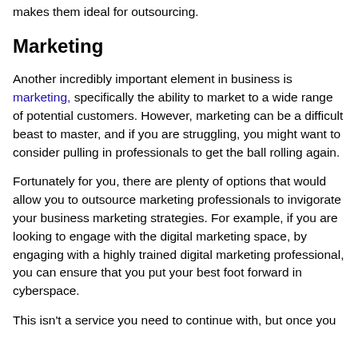makes them ideal for outsourcing.
Marketing
Another incredibly important element in business is marketing, specifically the ability to market to a wide range of potential customers. However, marketing can be a difficult beast to master, and if you are struggling, you might want to consider pulling in professionals to get the ball rolling again.
Fortunately for you, there are plenty of options that would allow you to outsource marketing professionals to invigorate your business marketing strategies. For example, if you are looking to engage with the digital marketing space, by engaging with a highly trained digital marketing professional, you can ensure that you put your best foot forward in cyberspace.
This isn't a service you need to continue with, but once you